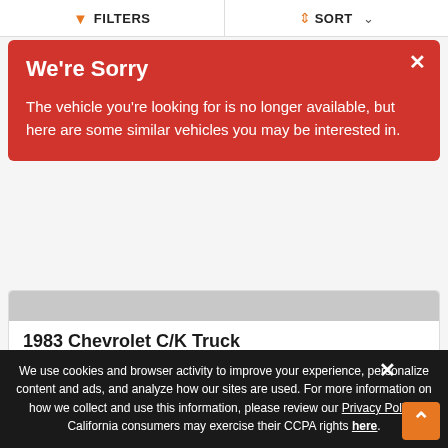FILTERS   SORT
We're Sorry
The vehicle you're looking for is no longer available, but here are some similar vehicles you may be interested in.
1983 Chevrolet C/K Truck
$22,295
|  |  |
| --- | --- |
| Engine | 350ci |
| Miles | 53,150 |
27  ♡ 2  ⇄
We use cookies and browser activity to improve your experience, personalize content and ads, and analyze how our sites are used. For more information on how we collect and use this information, please review our Privacy Policy. California consumers may exercise their CCPA rights here.